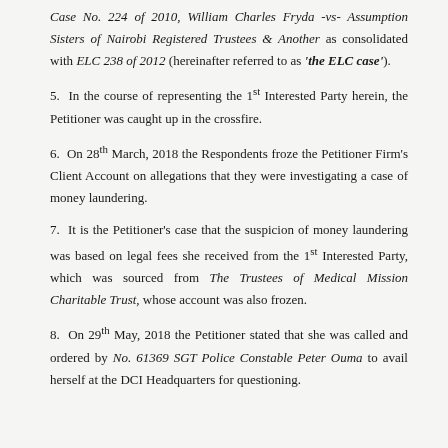Case No. 224 of 2010, William Charles Fryda -vs- Assumption Sisters of Nairobi Registered Trustees & Another as consolidated with ELC 238 of 2012 (hereinafter referred to as 'the ELC case').
5. In the course of representing the 1st Interested Party herein, the Petitioner was caught up in the crossfire.
6. On 28th March, 2018 the Respondents froze the Petitioner Firm's Client Account on allegations that they were investigating a case of money laundering.
7. It is the Petitioner's case that the suspicion of money laundering was based on legal fees she received from the 1st Interested Party, which was sourced from The Trustees of Medical Mission Charitable Trust, whose account was also frozen.
8. On 29th May, 2018 the Petitioner stated that she was called and ordered by No. 61369 SGT Police Constable Peter Ouma to avail herself at the DCI Headquarters for questioning.